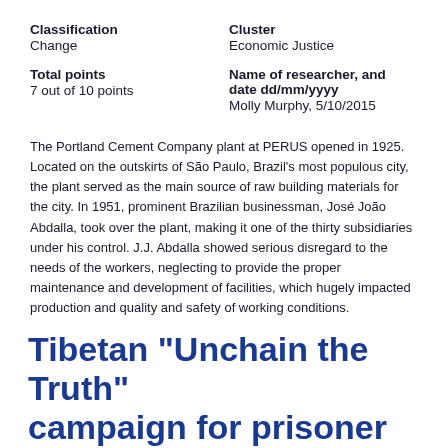Classification
Change
Cluster
Economic Justice
Total points
7 out of 10 points
Name of researcher, and date dd/mm/yyyy
Molly Murphy, 5/10/2015
The Portland Cement Company plant at PERUS opened in 1925. Located on the outskirts of São Paulo, Brazil's most populous city, the plant served as the main source of raw building materials for the city. In 1951, prominent Brazilian businessman, José João Abdalla, took over the plant, making it one of the thirty subsidiaries under his control. J.J. Abdalla showed serious disregard to the needs of the workers, neglecting to provide the proper maintenance and development of facilities, which hugely impacted production and quality and safety of working conditions.
Tibetan "Unchain the Truth" campaign for prisoner release